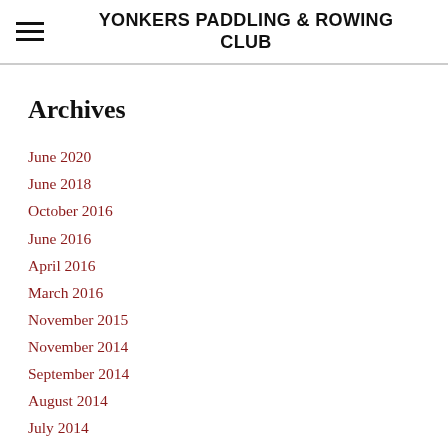YONKERS PADDLING & ROWING CLUB
Archives
June 2020
June 2018
October 2016
June 2016
April 2016
March 2016
November 2015
November 2014
September 2014
August 2014
July 2014
June 2014
May 2014